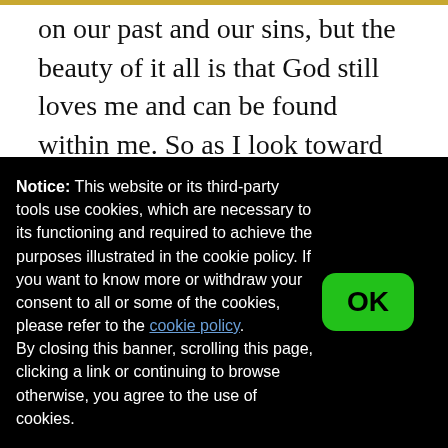on our past and our sins, but the beauty of it all is that God still loves me and can be found within me. So as I look toward life after this retreat, I pray for the grace to better recognize God within myself and be a source of God's love for those I meet. If I can recognize God as a part of me and love God, it truly will decide everything.
Notice: This website or its third-party tools use cookies, which are necessary to its functioning and required to achieve the purposes illustrated in the cookie policy. If you want to know more or withdraw your consent to all or some of the cookies, please refer to the cookie policy.
By closing this banner, scrolling this page, clicking a link or continuing to browse otherwise, you agree to the use of cookies.